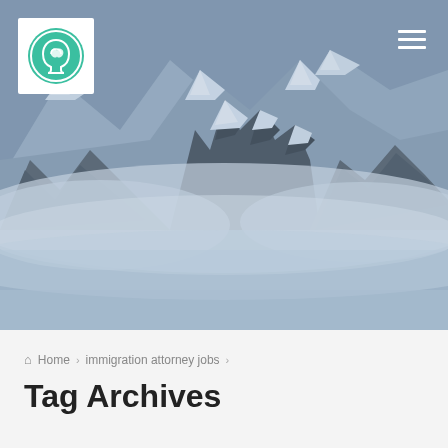[Figure (photo): Snow-capped mountain peaks emerging through clouds, with a blue-grey misty atmosphere. A navigation bar overlays the top with a logo on the left and hamburger menu on the right.]
Home > immigration attorney jobs >
Tag Archives